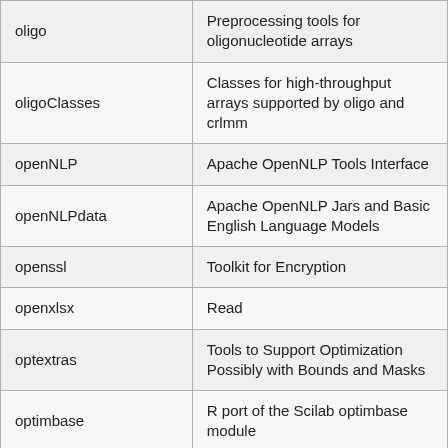| Package | Description |
| --- | --- |
| oligo | Preprocessing tools for oligonucleotide arrays |
| oligoClasses | Classes for high-throughput arrays supported by oligo and crlmm |
| openNLP | Apache OpenNLP Tools Interface |
| openNLPdata | Apache OpenNLP Jars and Basic English Language Models |
| openssl | Toolkit for Encryption |
| openxlsx | Read |
| optextras | Tools to Support Optimization Possibly with Bounds and Masks |
| optimbase | R port of the Scilab optimbase module |